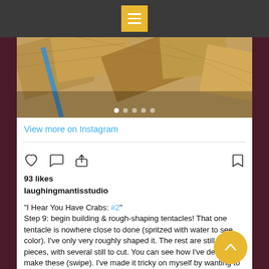Menu button / navigation bar
[Figure (photo): Instagram post photo showing wooden blocks/pieces for woodworking, arranged on a surface, with a blue ruler/tool visible]
View more on Instagram
[Figure (infographic): Instagram action icons: heart (like), speech bubble (comment), share/upload arrow, and bookmark]
93 likes
laughingmantisstudio
"I Hear You Have Crabs: #2" Step 9: begin building & rough-shaping tentacles! That one tentacle is nowhere close to done (spritzed with water to see color). I've only very roughly shaped it. The rest are still in pieces, with several still to cut. You can see how I've decided to make these (swipe). I've made it tricky on myself by wanting to make the suckers and the ventral side of each tentacle out of maple, similar to the intarsia part. And I don't want it to be just a straight line as if